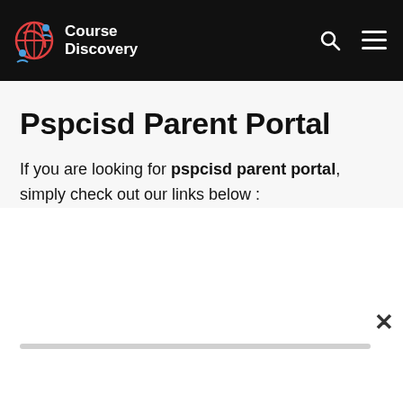Course Discovery
Pspcisd Parent Portal
If you are looking for pspcisd parent portal, simply check out our links below :